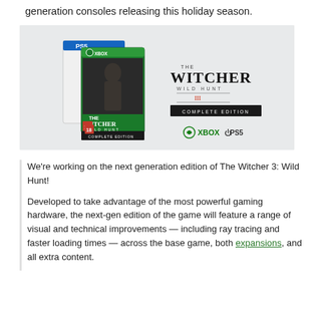generation consoles releasing this holiday season.
[Figure (photo): The Witcher 3: Wild Hunt Complete Edition game box for PS5 and Xbox, showing the physical game cases alongside official Xbox and PS5 logos and The Witcher 3 Wild Hunt Complete Edition branding on a light grey background.]
We're working on the next generation edition of The Witcher 3: Wild Hunt!

Developed to take advantage of the most powerful gaming hardware, the next-gen edition of the game will feature a range of visual and technical improvements — including ray tracing and faster loading times — across the base game, both expansions, and all extra content.